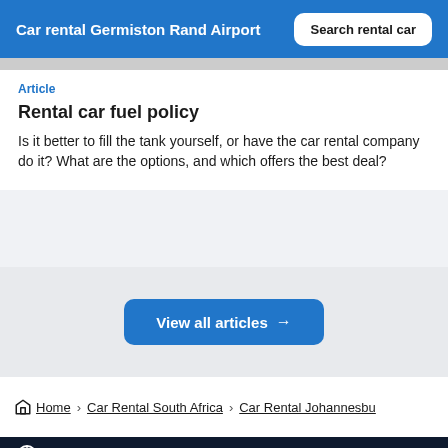Car rental Germiston Rand Airport | Search rental car
[Figure (screenshot): Gray image strip at top of article card]
Article
Rental car fuel policy
Is it better to fill the tank yourself, or have the car rental company do it? What are the options, and which offers the best deal?
View all articles →
Home > Car Rental South Africa > Car Rental Johannesbu
Help and contact